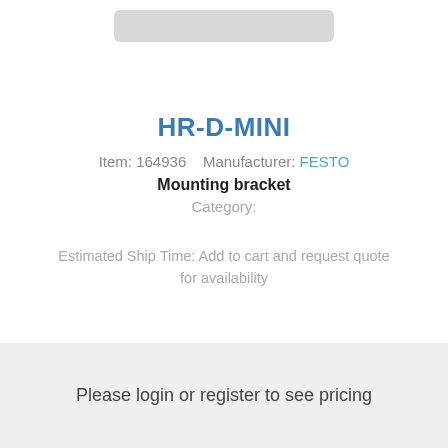[Figure (other): Gray rounded rectangle placeholder for product image at top of page]
HR-D-MINI
Item: 164936    Manufacturer: FESTO
Mounting bracket
Category:
Estimated Ship Time: Add to cart and request quote for availability
Please login or register to see pricing